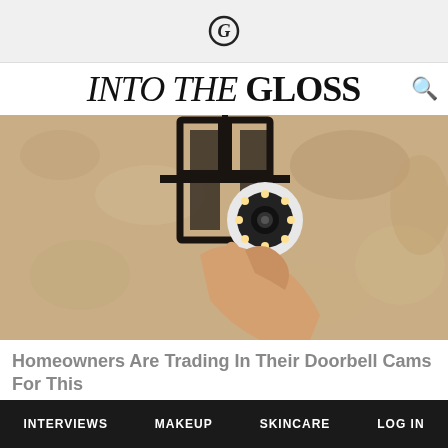G (logo icon)
INTO THE GLOSS
[Figure (photo): A person's hand holding or installing a round security camera with LED lights, mounted on a textured stone/stucco wall next to a black metal lantern.]
Homeowners Are Trading In Their Doorbell Cams For This
Camerca
Learn More
[Figure (photo): Close-up of a cat (orange/white fur) near a wall.]
[Figure (photo): A man with curly dark hair against a light background with a green plant.]
INTERVIEWS   MAKEUP   SKINCARE   LOG IN